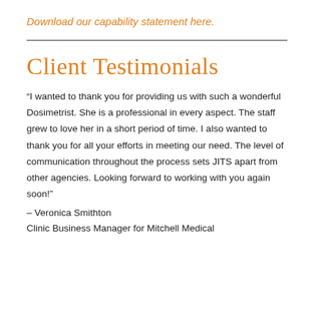Download our capability statement here.
Client Testimonials
“I wanted to thank you for providing us with such a wonderful Dosimetrist. She is a professional in every aspect. The staff grew to love her in a short period of time. I also wanted to thank you for all your efforts in meeting our need. The level of communication throughout the process sets JITS apart from other agencies. Looking forward to working with you again soon!”
– Veronica Smithton
Clinic Business Manager for Mitchell Medical